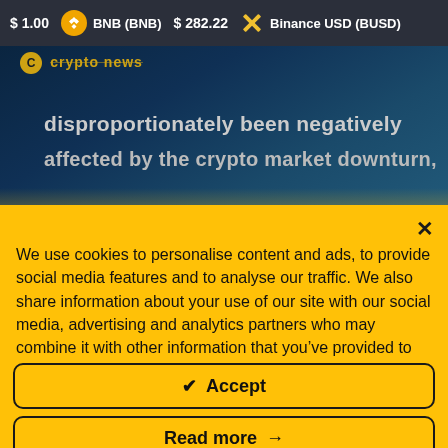$ 1.00   BNB (BNB)   $ 282.22   Binance USD (BUSD)
[Figure (screenshot): Partial view of a crypto news website article background with dark blue tones and partial bold headline text reading 'disproportionately been negatively' and partial second line.]
We use cookies to personalise content and ads, to provide social media features and to analyse our traffic. We also share information about your use of our site with our social media, advertising and analytics partners who may combine it with other information that you’ve provided to them or that they’ve collected from your use of their services.
✔ Accept
Read more →
Change Settings ⚙